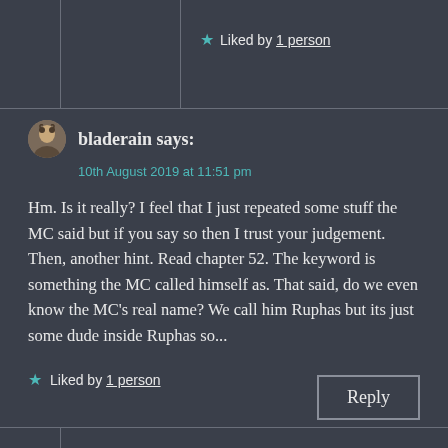★ Liked by 1 person
bladerain says:
10th August 2019 at 11:51 pm
Hm. Is it really? I feel that I just repeated some stuff the MC said but if you say so then I trust your judgement. Then, another hint. Read chapter 52. The keyword is something the MC called himself as. That said, do we even know the MC's real name? We call him Ruphas but its just some dude inside Ruphas so...
★ Liked by 1 person
Reply